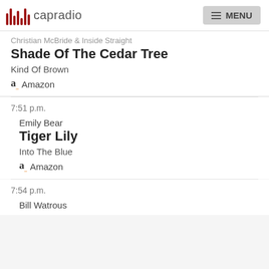capradio  MENU
Christian McBride & Inside Straight
Shade Of The Cedar Tree
Kind Of Brown
Amazon
7:51 p.m.
Emily Bear
Tiger Lily
Into The Blue
Amazon
7:54 p.m.
Bill Watrous